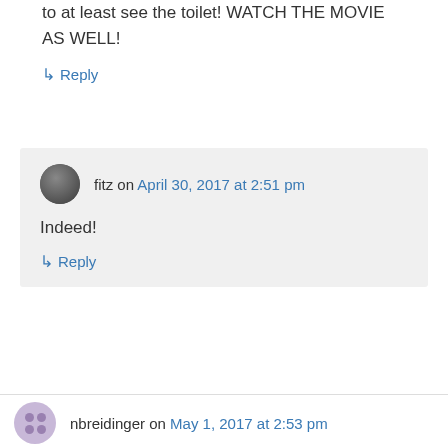to at least see the toilet! WATCH THE MOVIE AS WELL!
↳ Reply
fitz on April 30, 2017 at 2:51 pm
Indeed!
↳ Reply
nbreidinger on May 1, 2017 at 2:53 pm
I have an idea: lift the current bucket catch on top of the toilet and attach it to the wall. Drill a hole in the bottom. Connect a PVC pipe to the